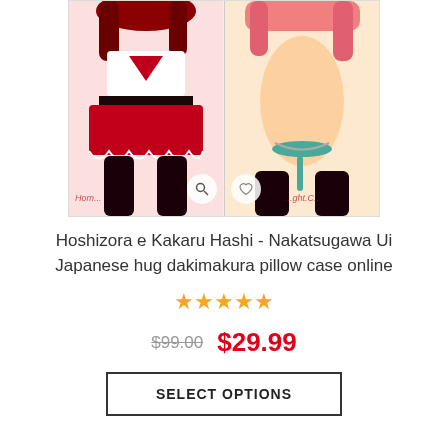[Figure (illustration): Two-panel anime illustration showing a female character in a red outfit on the left panel and the same or similar character in a more revealing outfit on the right panel, with watermarks reading 'Hom...' and '...ght.C...' overlaid.]
Hoshizora e Kakaru Hashi - Nakatsugawa Ui Japanese hug dakimakura pillow case online
[Figure (other): Five gold/orange star rating icons indicating a 5-star rating.]
$99.00  $29.99
SELECT OPTIONS